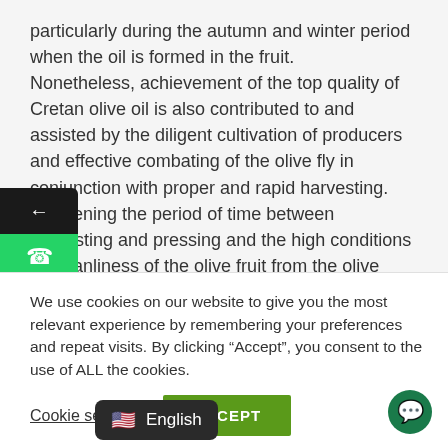particularly during the autumn and winter period when the oil is formed in the fruit. Nonetheless, achievement of the top quality of Cretan olive oil is also contributed to and assisted by the diligent cultivation of producers and effective combating of the olive fly in conjunction with proper and rapid harvesting. Shortening the period of time between harvesting and pressing and the high conditions of cleanliness of the olive fruit from the olive plantation to the olive press are also considered to be important technical factors which contribute decisively to improving quality.
We use cookies on our website to give you the most relevant experience by remembering your preferences and repeat visits. By clicking “Accept”, you consent to the use of ALL the cookies.